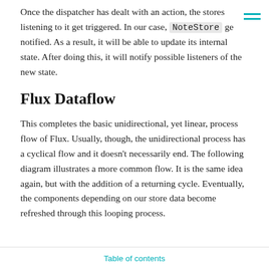Once the dispatcher has dealt with an action, the stores listening to it get triggered. In our case, NoteStore ge notified. As a result, it will be able to update its internal state. After doing this, it will notify possible listeners of the new state.
Flux Dataflow
This completes the basic unidirectional, yet linear, process flow of Flux. Usually, though, the unidirectional process has a cyclical flow and it doesn't necessarily end. The following diagram illustrates a more common flow. It is the same idea again, but with the addition of a returning cycle. Eventually, the components depending on our store data become refreshed through this looping process.
Table of contents